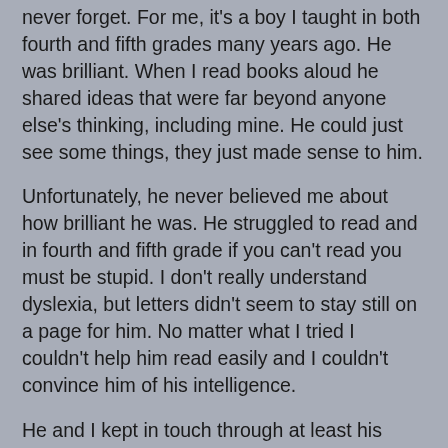Every teacher has that kid (or maybe a few) that she will never forget. For me, it's a boy I taught in both fourth and fifth grades many years ago. He was brilliant. When I read books aloud he shared ideas that were far beyond anyone else's thinking, including mine. He could just see some things, they just made sense to him.
Unfortunately, he never believed me about how brilliant he was. He struggled to read and in fourth and fifth grade if you can't read you must be stupid. I don't really understand dyslexia, but letters didn't seem to stay still on a page for him. No matter what I tried I couldn't help him read easily and I couldn't convince him of his intelligence.
He and I kept in touch through at least his eighth grade year. We attended theatrical performances at his middle school (it was so fun to watch other former students perform) and he even came to my house one day and helped me stain my new pantry doors. I wasn't ready to let go. I always felt like I should be doing more for him. His potential was so great.
After eighth grade we lost touch. By then I had two kids and many new students. When I would drive by his apartment